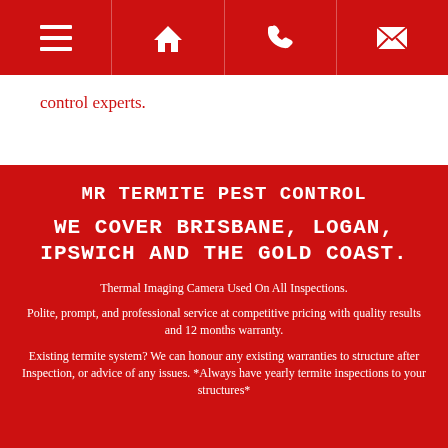[Navigation bar with menu, home, phone, and email icons]
control experts.
MR TERMITE PEST CONTROL
WE COVER BRISBANE, LOGAN, IPSWICH AND THE GOLD COAST.
Thermal Imaging Camera Used On All Inspections.
Polite, prompt, and professional service at competitive pricing with quality results and 12 months warranty.
Existing termite system? We can honour any existing warranties to structure after Inspection, or advice of any issues. *Always have yearly termite inspections to your structures*